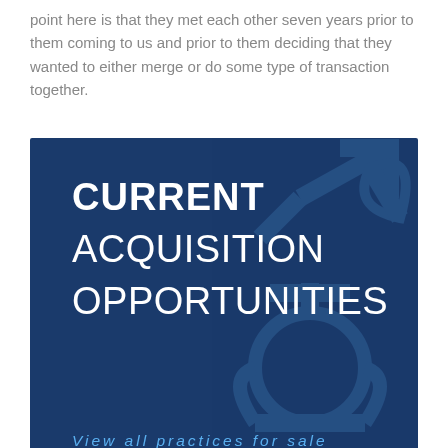point here is that they met each other seven years prior to them coming to us and prior to them deciding that they wanted to either merge or do some type of transaction together.
[Figure (infographic): Dark blue banner advertisement reading 'CURRENT ACQUISITION OPPORTUNITIES' in large white bold/thin text, with a decorative anchor/arrow watermark graphic, and italic light blue text below reading 'View all practices for sale']